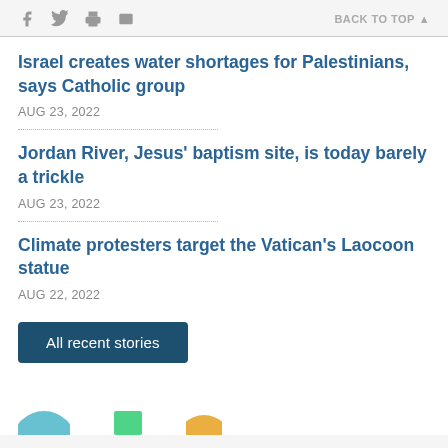f [twitter] [print] [email]  BACK TO TOP ▲
Israel creates water shortages for Palestinians, says Catholic group
AUG 23, 2022
Jordan River, Jesus' baptism site, is today barely a trickle
AUG 23, 2022
Climate protesters target the Vatican's Laocoon statue
AUG 22, 2022
All recent stories